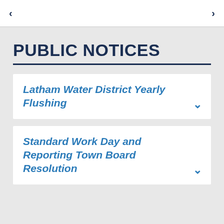< >
PUBLIC NOTICES
Latham Water District Yearly Flushing
Standard Work Day and Reporting Town Board Resolution